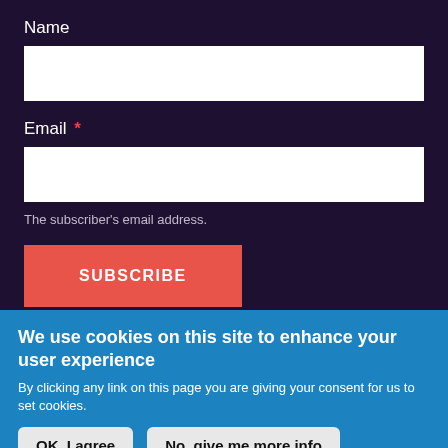Name
Email *
The subscriber's email address.
SUBSCRIBE
We use cookies on this site to enhance your user experience
By clicking any link on this page you are giving your consent for us to set cookies.
OK, I agree
No, give me more info